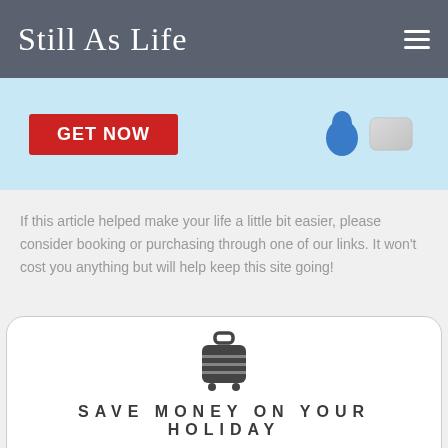Still As Life
[Figure (illustration): Advertisement banner with red GET NOW button and blue decorative shapes on light blue background]
If this article helped make your life a little bit easier, please consider booking or purchasing through one of our links. It won't cost you anything but will help keep this site going!
[Figure (illustration): Luggage/suitcase icon in dark gray]
SAVE MONEY ON YOUR HOLIDAY
Travel Money & Currency Conversion: We use both Up Bank and Wise for the best currency conversion rates with support for Apple Pay and